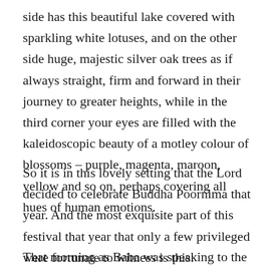side has this beautiful lake covered with sparkling white lotuses, and on the other side huge, majestic silver oak trees as if always straight, firm and forward in their journey to greater heights, while in the third corner your eyes are filled with the kaleidoscopic beauty of a motley colour of blossoms – purple, magenta, maroon, yellow and so on, perhaps covering all hues of human emotions.
So it is in this lovely setting that the Lord decided to celebrate Buddha Poornima that year. And the most exquisite part of this festival that year that only a few privileged were fortunate to witness is this:
That morning as Baba was speaking to the boys inside